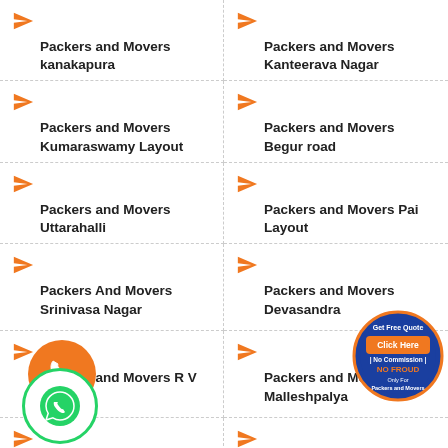Packers and Movers kanakapura
Packers and Movers Kanteerava Nagar
Packers and Movers Kumaraswamy Layout
Packers and Movers Begur road
Packers and Movers Uttarahalli
Packers and Movers Pai Layout
Packers And Movers Srinivasa Nagar
Packers and Movers Devasandra
Packers and Movers R V Road
Packers and Movers Malleshpalya
Packers and Movers
Packers and Movers
[Figure (illustration): Orange circle with phone icon (call button)]
[Figure (illustration): Green circle with WhatsApp phone icon]
[Figure (illustration): Blue circular badge: Get Free Quote, Click Here, No Commission, NO FROUD, Only For Packers and Movers]